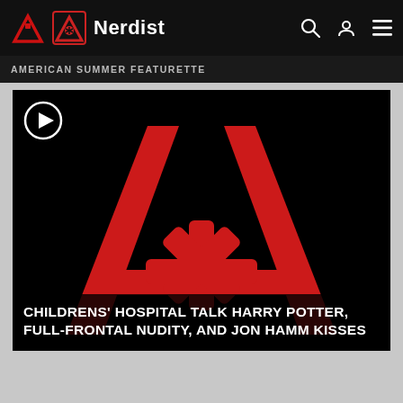Nerdist
AMERICAN SUMMER FEATURETTE
[Figure (screenshot): Black video thumbnail showing the Nerdist logo — a large red letter A with an asterisk/snowflake symbol in its center — on a solid black background, with a circular play button icon in the top-left corner.]
CHILDRENS' HOSPITAL TALK HARRY POTTER, FULL-FRONTAL NUDITY, AND JON HAMM KISSES